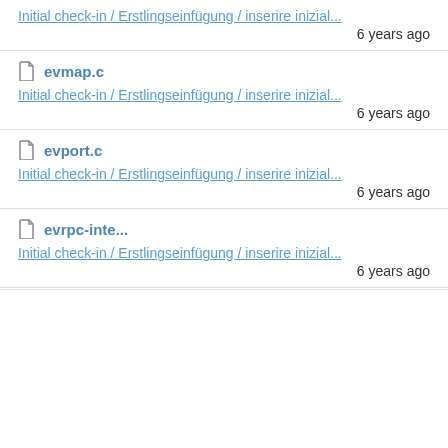Initial check-in / Erstlingseinfügung / inserire inizial...
6 years ago
evmap.c
Initial check-in / Erstlingseinfügung / inserire inizial...
6 years ago
evport.c
Initial check-in / Erstlingseinfügung / inserire inizial...
6 years ago
evrpc-inte...
Initial check-in / Erstlingseinfügung / inserire inizial...
6 years ago